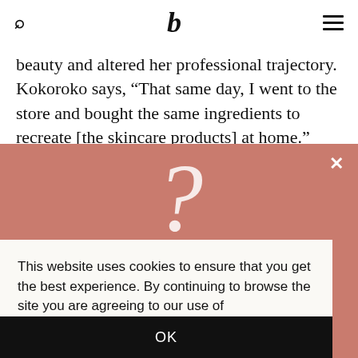b (logo)
beauty and altered her professional trajectory. Kokoroko says, “That same day, I went to the store and bought the same ingredients to recreate [the skincare products] at home.”
[Figure (photo): Pink/salmon colored overlay with a large white question mark and a close (X) button in the upper right]
This website uses cookies to ensure that you get the best experience. By continuing to browse the site you are agreeing to our use of cookies. Learn More
OK